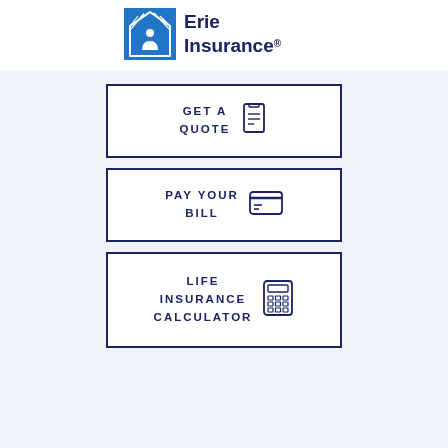[Figure (logo): Erie Insurance logo with blue house/shield graphic and 'Erie Insurance' text]
GET A QUOTE
PAY YOUR BILL
LIFE INSURANCE CALCULATOR